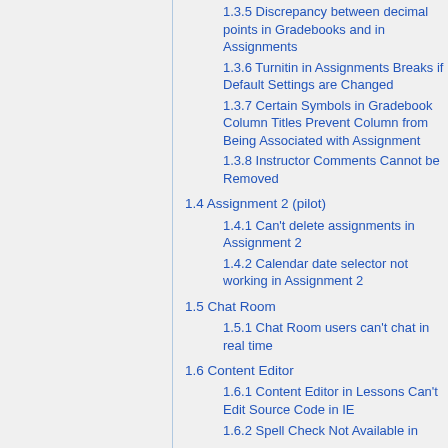1.3.5 Discrepancy between decimal points in Gradebooks and in Assignments
1.3.6 Turnitin in Assignments Breaks if Default Settings are Changed
1.3.7 Certain Symbols in Gradebook Column Titles Prevent Column from Being Associated with Assignment
1.3.8 Instructor Comments Cannot be Removed
1.4 Assignment 2 (pilot)
1.4.1 Can't delete assignments in Assignment 2
1.4.2 Calendar date selector not working in Assignment 2
1.5 Chat Room
1.5.1 Chat Room users can't chat in real time
1.6 Content Editor
1.6.1 Content Editor in Lessons Can't Edit Source Code in IE
1.6.2 Spell Check Not Available in